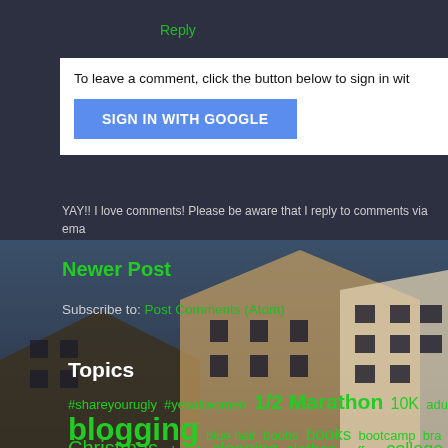Reply
To leave a comment, click the button below to sign in wit
SIGN IN WITH GOOGLE
YAY!! I love comments! Please be aware that I reply to comments via ema
Newer Post
Subscribe to: Post Comments (Atom)
Topics
#shareyourugly #yesallwomen 1/2 Marathon 10K adult adventures
blogging blue hair boobs books bootcamp bra break up Bridge brow
Christmas church cleaning clothes coffee college Colorado colors c